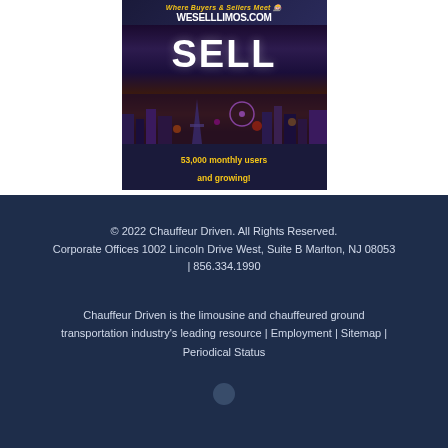[Figure (illustration): Advertisement banner for WESELLLIMOS.COM showing 'Where Buyers & Sellers Meet' tagline, large 'SELL' text, Las Vegas cityscape at night with Eiffel Tower replica and Ferris wheel, and '53,000 monthly users and growing!' text]
© 2022 Chauffeur Driven. All Rights Reserved.
Corporate Offices 1002 Lincoln Drive West, Suite B Marlton, NJ 08053 | 856.334.1990
Chauffeur Driven is the limousine and chauffeured ground transportation industry's leading resource | Employment | Sitemap | Periodical Status